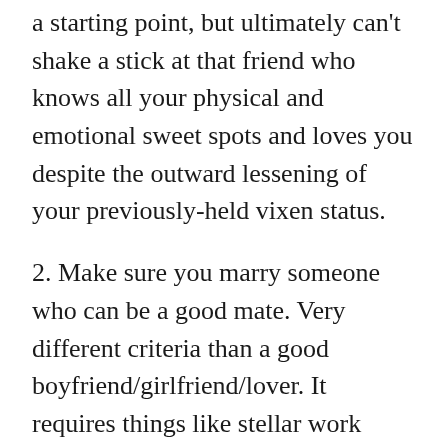a starting point, but ultimately can't shake a stick at that friend who knows all your physical and emotional sweet spots and loves you despite the outward lessening of your previously-held vixen status.
2. Make sure you marry someone who can be a good mate. Very different criteria than a good boyfriend/girlfriend/lover. It requires things like stellar work ethic (a good job and the wherewithal to keep it), admirable responsibility (like a solid sense of the point and purpose of saving money), age-appropriate skills (can pack own bag and knows how to run the dishwasher), initiative powers (able to plan a trip or wrangle a